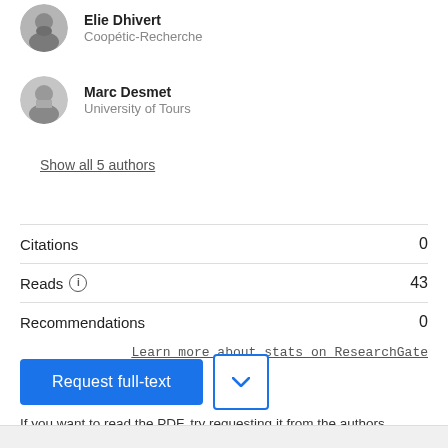[Figure (photo): Circular profile photo of Elie Dhivert, a bearded man]
Elie Dhivert
Coopétic-Recherche
[Figure (photo): Circular profile photo of Marc Desmet, a man in formal attire]
Marc Desmet
University of Tours
Show all 5 authors
Citations	0
Reads	43
Recommendations	0
Learn more about stats on ResearchGate
Request full-text
If you want to read the PDF, try requesting it from the authors.